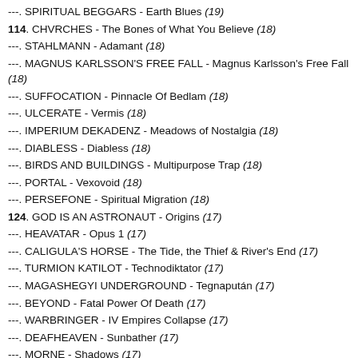---. SPIRITUAL BEGGARS - Earth Blues (19)
114. CHVRCHES - The Bones of What You Believe (18)
---. STAHLMANN - Adamant (18)
---. MAGNUS KARLSSON'S FREE FALL - Magnus Karlsson's Free Fall (18)
---. SUFFOCATION - Pinnacle Of Bedlam (18)
---. ULCERATE - Vermis (18)
---. IMPERIUM DEKADENZ - Meadows of Nostalgia (18)
---. DIABLESS - Diabless (18)
---. BIRDS AND BUILDINGS - Multipurpose Trap (18)
---. PORTAL - Vexovoid (18)
---. PERSEFONE - Spiritual Migration (18)
124. GOD IS AN ASTRONAUT - Origins (17)
---. HEAVATAR - Opus 1 (17)
---. CALIGULA'S HORSE - The Tide, the Thief & River's End (17)
---. TURMION KATILOT - Technodiktator (17)
---. MAGASHEGYI UNDERGROUND - Tegnapután (17)
---. BEYOND - Fatal Power Of Death (17)
---. WARBRINGER - IV Empires Collapse (17)
---. DEAFHEAVEN - Sunbather (17)
---. MORNE - Shadows (17)
---. SCHATTENVALD - IV (17)
---. DIGIMORTAL - Сто Ночей (17)